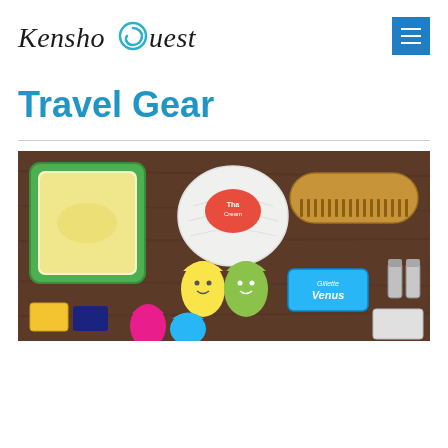Kensho Quest
Travel Gear
[Figure (photo): Overhead flat-lay photo on a dark wood surface showing travel toiletry items: a green soap container with bar soap, a white wrapped cream ball with Thai Cream label, a wooden comb, two smiley-face silicone earbud covers (yellow and green), a blue Gillette Venus razor package, nail clippers, a pink item, a blue teardrop shape, and other small travel essentials.]